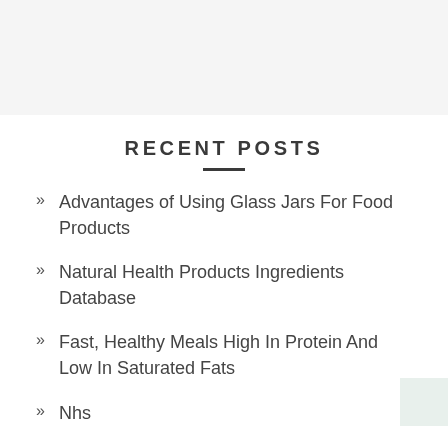RECENT POSTS
Advantages of Using Glass Jars For Food Products
Natural Health Products Ingredients Database
Fast, Healthy Meals High In Protein And Low In Saturated Fats
Nhs